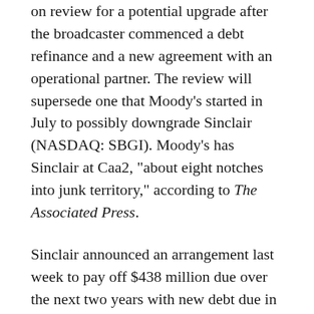on review for a potential upgrade after the broadcaster commenced a debt refinance and a new agreement with an operational partner. The review will supersede one that Moody's started in July to possibly downgrade Sinclair (NASDAQ: SBGI). Moody's has Sinclair at Caa2, "about eight notches into junk territory," according to The Associated Press.
Sinclair announced an arrangement last week to pay off $438 million due over the next two years with new debt due in 2018 and 2027. The company also entered into a Memo of Understanding with Cunningham Broadcasting. Cunningham is Sinclair's local marketing agreement partner in several markets, generating around $77 million a year for SBGI. Cunningham defaulted on a loan this summer, spurring a bankruptcy warning from Sinclair. SBGI will